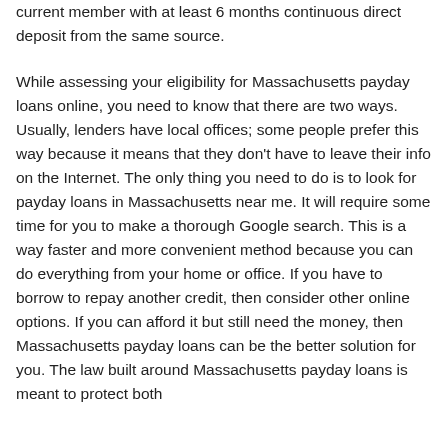current member with at least 6 months continuous direct deposit from the same source.
While assessing your eligibility for Massachusetts payday loans online, you need to know that there are two ways. Usually, lenders have local offices; some people prefer this way because it means that they don't have to leave their info on the Internet. The only thing you need to do is to look for payday loans in Massachusetts near me. It will require some time for you to make a thorough Google search. This is a way faster and more convenient method because you can do everything from your home or office. If you have to borrow to repay another credit, then consider other online options. If you can afford it but still need the money, then Massachusetts payday loans can be the better solution for you. The law built around Massachusetts payday loans is meant to protect both